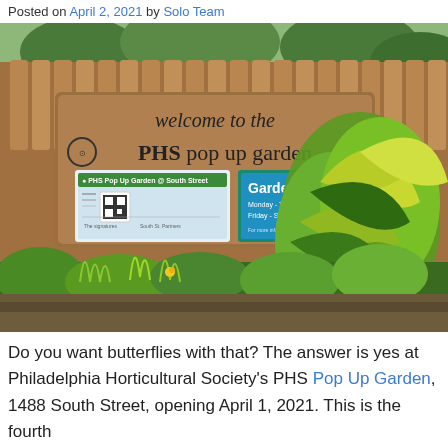Posted on April 2, 2021 by Solo Team
[Figure (photo): Photograph of the PHS Pop Up Garden entrance sign mounted on a wooden fence surrounded by lush green and yellow-green plants. The sign reads 'welcome to the PHS pop up garden'. Below it are two smaller signs: one for PHS Pop Up Garden at South Street with a QR code, and one showing Garden Hours Monday-Thursday and Friday-Sunday.]
Do you want butterflies with that? The answer is yes at Philadelphia Horticultural Society's PHS Pop Up Garden, 1488 South Street, opening April 1, 2021. This is the fourth